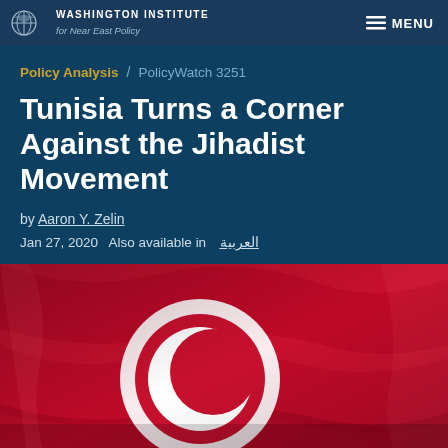WASHINGTON INSTITUTE for Near East Policy — MENU
Policy Analysis / PolicyWatch 3251
Tunisia Turns a Corner Against the Jihadist Movement
by Aaron Y. Zelin
Jan 27, 2020  Also available in العربية
[Figure (photo): Close-up photo of the Tunisian flag, showing red and white colors with crescent and star symbol, waving dramatically.]